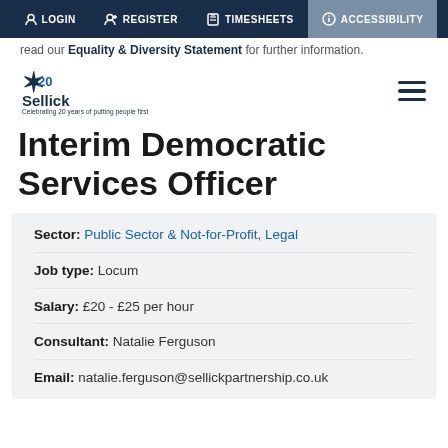LOGIN  REGISTER  TIMESHEETS  ACCESSIBILITY
read our Equality & Diversity Statement for further information.
[Figure (logo): Sellick Partnership logo with 20th anniversary star emblem]
Interim Democratic Services Officer
| Sector: | Public Sector & Not-for-Profit, Legal |
| Job type: | Locum |
| Salary: | £20 - £25 per hour |
| Consultant: | Natalie Ferguson |
| Email: | natalie.ferguson@sellickpartnership.co.uk |